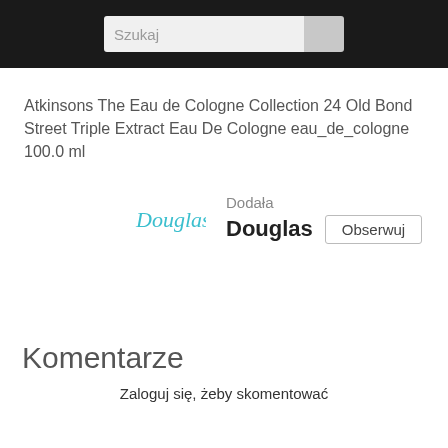Szukaj
Atkinsons The Eau de Cologne Collection 24 Old Bond Street Triple Extract Eau De Cologne eau_de_cologne 100.0 ml
Dodała
[Figure (logo): Douglas brand logo in teal/cyan cursive script]
Douglas Obserwuj
Komentarze
Zaloguj się, żeby skomentować